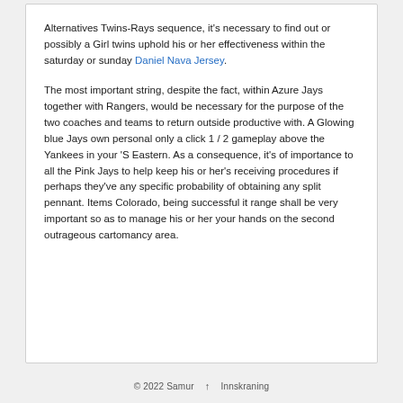Alternatives Twins-Rays sequence, it's necessary to find out or possibly a Girl twins uphold his or her effectiveness within the saturday or sunday Daniel Nava Jersey.
The most important string, despite the fact, within Azure Jays together with Rangers, would be necessary for the purpose of the two coaches and teams to return outside productive with. A Glowing blue Jays own personal only a click 1 / 2 gameplay above the Yankees in your 'S Eastern. As a consequence, it's of importance to all the Pink Jays to help keep his or her's receiving procedures if perhaps they've any specific probability of obtaining any split pennant. Items Colorado, being successful it range shall be very important so as to manage his or her your hands on the second outrageous cartomancy area.
© 2022 Samur ↑ Innskraning